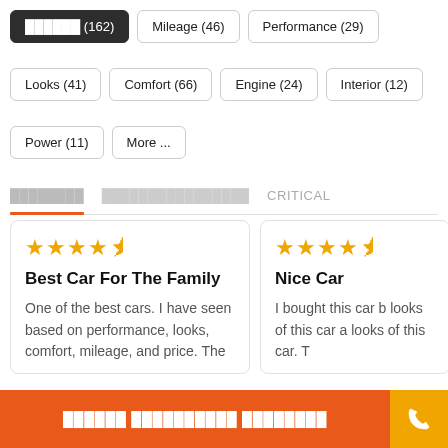██████ (162)
Mileage (46)
Performance (29)
Looks (41)
Comfort (66)
Engine (24)
Interior (12)
Power (11)
More ...
████████   ████████████████   CRITICAL
Best Car For The Family
★★★★½
One of the best cars. I have seen based on performance, looks, comfort, mileage, and price. The
Nice Car
★★★★½
I bought this car looking at the looks of this car a looks of this car. T
██████ ██████████ ████████